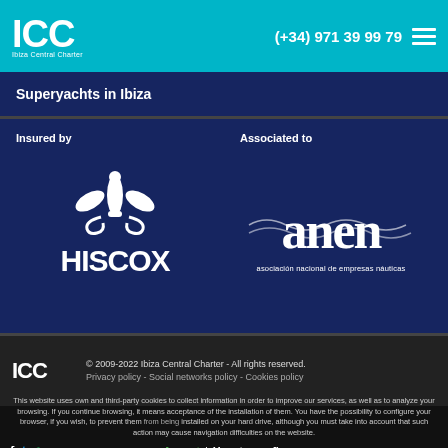ICC Ibiza Central Charter (+34) 971 39 99 79
Superyachts in Ibiza
[Figure (logo): HISCOX insurance logo with fleur-de-lis symbol, white on dark blue background. Label: Insured by]
[Figure (logo): anen logo - asociación nacional de empresas náuticas, white on dark blue background. Label: Associated to]
ICC © 2009-2022 Ibiza Central Charter - All rights reserved. Privacy policy - Social networks policy - Cookies policy
This website uses own and third-party cookies to collect information in order to improve our services, as well as to analyze your browsing. If you continue browsing, it means acceptance of the installation of them. You have the possibility to configure your browser, if you wish, to prevent them from being installed on your hard drive, although you must take into account that such action may cause navigation difficulties on the website.
Accept | How to configure